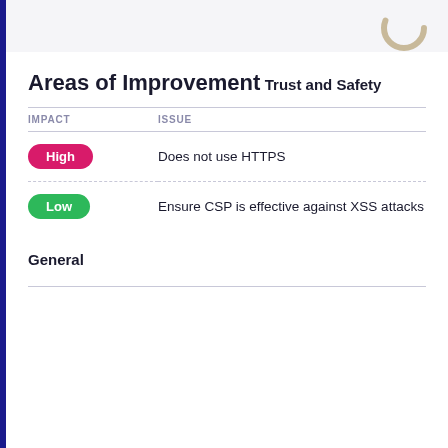Areas of Improvement
Trust and Safety
| IMPACT | ISSUE |
| --- | --- |
| High | Does not use HTTPS |
| Low | Ensure CSP is effective against XSS attacks |
General